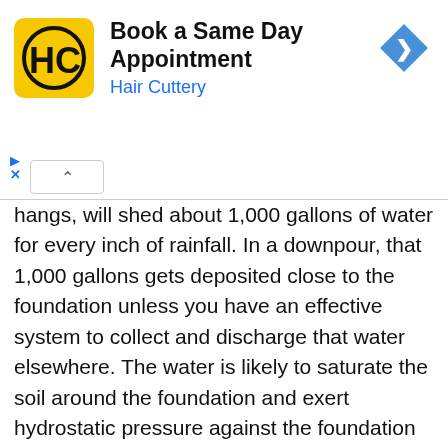[Figure (infographic): Hair Cuttery advertisement banner with yellow HC logo, text 'Book a Same Day Appointment / Hair Cuttery', and a blue navigation arrow icon. Ad attribution triangles and X marks visible on left side.]
hangs, will shed about 1,000 gallons of water for every inch of rainfall. In a downpour, that 1,000 gallons gets deposited close to the foundation unless you have an effective system to collect and discharge that water elsewhere. The water is likely to saturate the soil around the foundation and exert hydrostatic pressure against the foundation wall. Under pressure, the water will find its way through any cracks in the concrete or block wall, as well as the joints between the basement wall, footing, and floor.
Additional surface water may reach the foundation from yard areas and hardscapes, such as patios and walkways that do not slope away from the foundation.